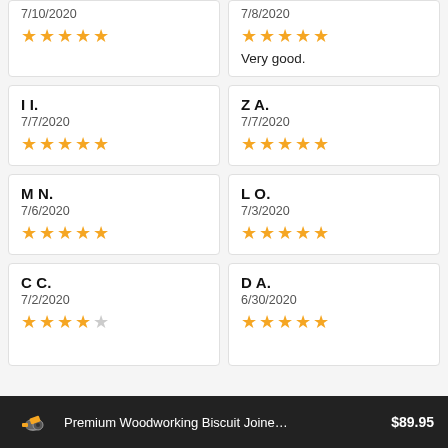7/10/2020 ★★★★★
7/8/2020 ★★★★★ Very good.
I I. 7/7/2020 ★★★★★
Z A. 7/7/2020 ★★★★★
M N. 7/6/2020 ★★★★★
L O. 7/3/2020 ★★★★★
C C. 7/2/2020 ★★★★☆
D A. 6/30/2020 ★★★★★
Premium Woodworking Biscuit Joine… $89.95